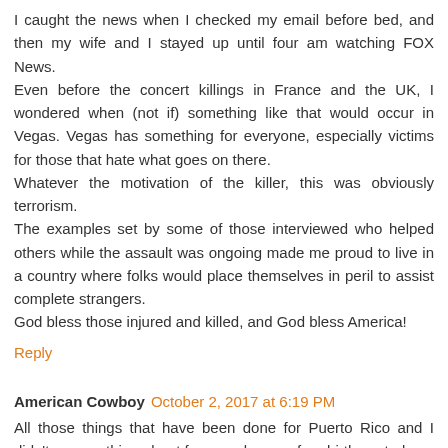I caught the news when I checked my email before bed, and then my wife and I stayed up until four am watching FOX News.
Even before the concert killings in France and the UK, I wondered when (not if) something like that would occur in Vegas. Vegas has something for everyone, especially victims for those that hate what goes on there.
Whatever the motivation of the killer, this was obviously terrorism.
The examples set by some of those interviewed who helped others while the assault was ongoing made me proud to live in a country where folks would place themselves in peril to assist complete strangers.
God bless those injured and killed, and God bless America!
Reply
American Cowboy   October 2, 2017 at 6:19 PM
All those things that have been done for Puerto Rico and I didn't see anything about free condoms or free birth control.
The last sentences that President Trump is going to...